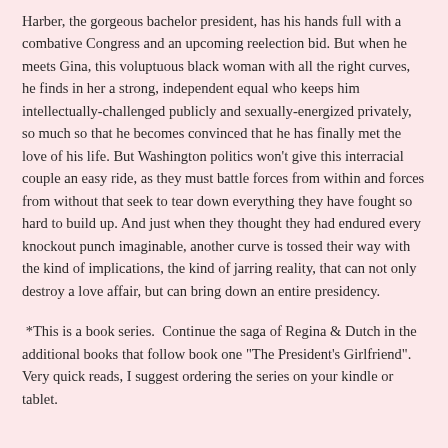Harber, the gorgeous bachelor president, has his hands full with a combative Congress and an upcoming reelection bid. But when he meets Gina, this voluptuous black woman with all the right curves, he finds in her a strong, independent equal who keeps him intellectually-challenged publicly and sexually-energized privately, so much so that he becomes convinced that he has finally met the love of his life. But Washington politics won't give this interracial couple an easy ride, as they must battle forces from within and forces from without that seek to tear down everything they have fought so hard to build up. And just when they thought they had endured every knockout punch imaginable, another curve is tossed their way with the kind of implications, the kind of jarring reality, that can not only destroy a love affair, but can bring down an entire presidency.
*This is a book series.  Continue the saga of Regina & Dutch in the additional books that follow book one "The President's Girlfriend". Very quick reads, I suggest ordering the series on your kindle or tablet.